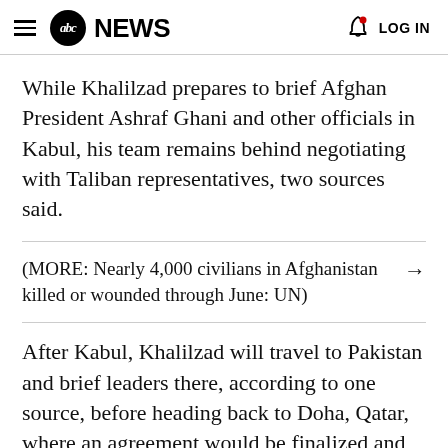abc NEWS  LOG IN
While Khalilzad prepares to brief Afghan President Ashraf Ghani and other officials in Kabul, his team remains behind negotiating with Taliban representatives, two sources said.
(MORE: Nearly 4,000 civilians in Afghanistan killed or wounded through June: UN)
After Kabul, Khalilzad will travel to Pakistan and brief leaders there, according to one source, before heading back to Doha, Qatar, where an agreement would be finalized and